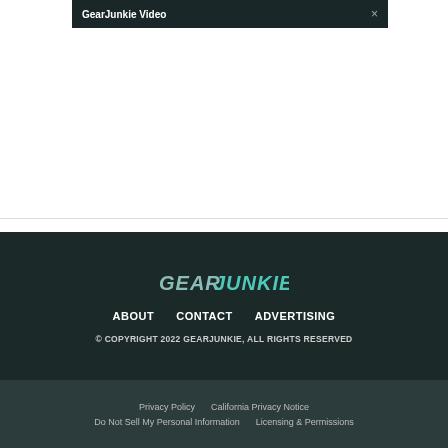GearJunkie Video ×
« Gearing Up For 'Gates Of The Arctic National Park'
Outdoor Hazards: Falling Branches »
[Figure (logo): GearJunkie logo in teal/mint italic stylized text]
ABOUT   CONTACT   ADVERTISING
© COPYRIGHT 2022 GEARJUNKIE, ALL RIGHTS RESERVED
Privacy Policy   California Privacy Notice
Do Not Sell My Personal Information   Licensing & Permissions